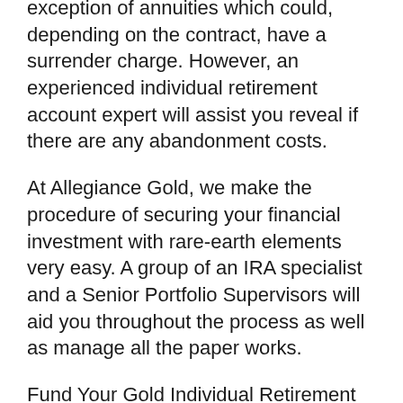exception of annuities which could, depending on the contract, have a surrender charge. However, an experienced individual retirement account expert will assist you reveal if there are any abandonment costs.
At Allegiance Gold, we make the procedure of securing your financial investment with rare-earth elements very easy. A group of an IRA specialist and a Senior Portfolio Supervisors will aid you throughout the process as well as manage all the paper works.
Fund Your Gold Individual Retirement Account.
With your application finished as well as your